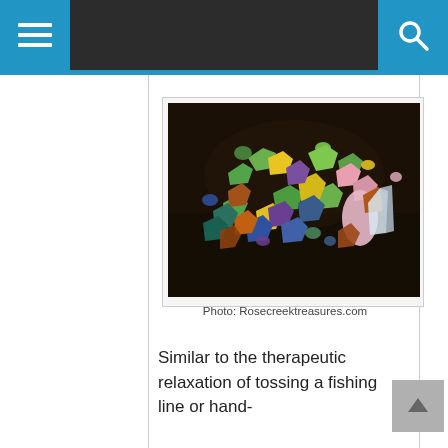Navigation bar with hamburger menu and search icon
[Figure (photo): A pile of colorful raw gemstones and minerals on a dark surface, including green, yellow, pink, purple, blue, orange, and white specimens]
Photo: Rosecreektreasures.com
Similar to the therapeutic relaxation of tossing a fishing line or hand-